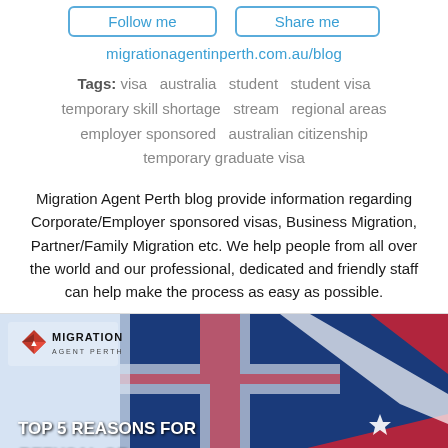Follow me | Share me
migrationagentinperth.com.au/blog
Tags: visa  australia  student  student visa  temporary skill shortage  stream  regional areas  employer sponsored  australian citizenship  temporary graduate visa
Migration Agent Perth blog provide information regarding Corporate/Employer sponsored visas, Business Migration, Partner/Family Migration etc. We help people from all over the world and our professional, dedicated and friendly staff can help make the process as easy as possible.
[Figure (photo): Migration Agent Perth promotional banner showing the Australian flag with the Migration Agent Perth logo and text 'TOP 5 REASONS FOR REFUSAL OF']